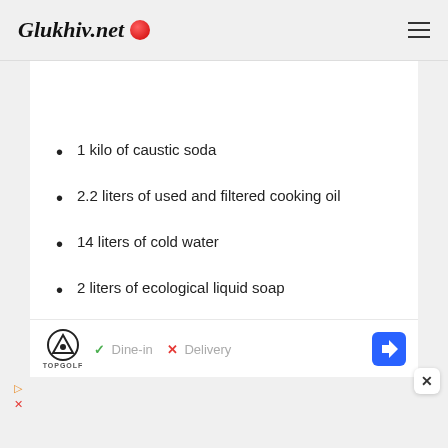Glukhiv.net
1 kilo of caustic soda
2.2 liters of used and filtered cooking oil
14 liters of cold water
2 liters of ecological liquid soap
[Figure (screenshot): Advertisement banner for TopGolf showing logo, Dine-in checkmark, Delivery X mark, and navigation arrow icon]